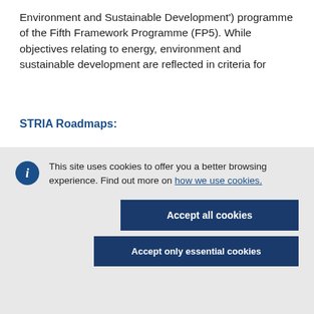Environment and Sustainable Development') programme of the Fifth Framework Programme (FP5). While objectives relating to energy, environment and sustainable development are reflected in criteria for
STRIA Roadmaps:
This site uses cookies to offer you a better browsing experience. Find out more on how we use cookies.
Accept all cookies
Accept only essential cookies